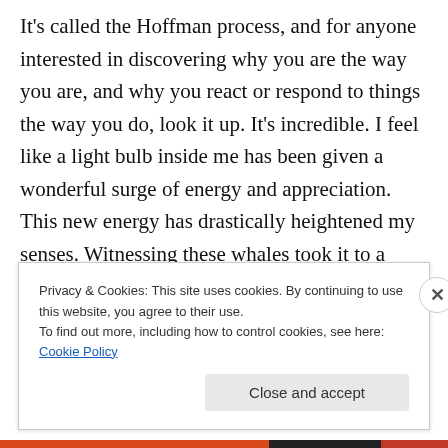It's called the Hoffman process, and for anyone interested in discovering why you are the way you are, and why you react or respond to things the way you do, look it up. It's incredible. I feel like a light bulb inside me has been given a wonderful surge of energy and appreciation. This new energy has drastically heightened my senses. Witnessing these whales took it to a whole new level. Again, what a wondrous world we live in!
Privacy & Cookies: This site uses cookies. By continuing to use this website, you agree to their use.
To find out more, including how to control cookies, see here: Cookie Policy